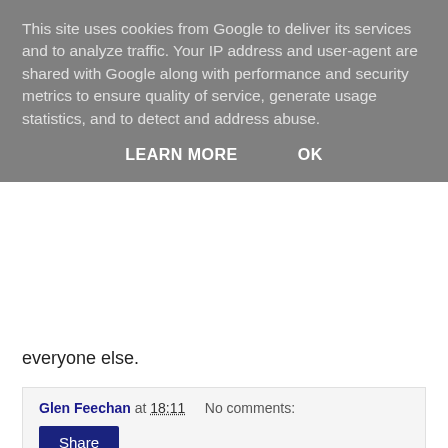This site uses cookies from Google to deliver its services and to analyze traffic. Your IP address and user-agent are shared with Google along with performance and security metrics to ensure quality of service, generate usage statistics, and to detect and address abuse.
LEARN MORE   OK
everyone else.
Glen Feechan at 18:11   No comments:
Share
Monday, 24 November 2008
PBR - Pay your Taxes when you can?
It would appear that Alistair Darling said in his Pre-Budget report that business will be given as long as they need to pay VAT, PAYE, and Corporation Tax.